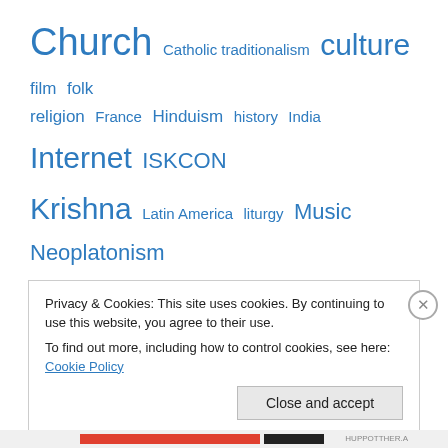[Figure (infographic): A tag cloud of blog/website category links in blue, varying font sizes indicating frequency/importance. Tags include: Church, Catholic traditionalism, culture, film, folk religion, France, Hinduism, history, India, Internet, ISKCON, Krishna, Latin America, liturgy, Music, Neoplatonism, paganism, Patristics, personal, philosophy, Poetry, Prabhupada, prayers, saints, Society of St. Pius X, theology, Uncategorized, Zizek]
Privacy & Cookies: This site uses cookies. By continuing to use this website, you agree to their use.
To find out more, including how to control cookies, see here: Cookie Policy
Close and accept